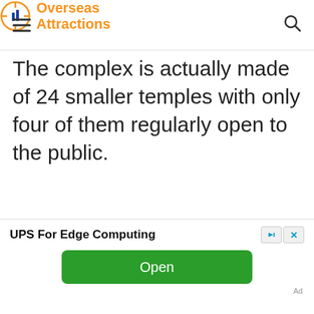Overseas Attractions
The complex is actually made of 24 smaller temples with only four of them regularly open to the public.
[Figure (other): Advertisement banner: UPS For Edge Computing with a green Open button]